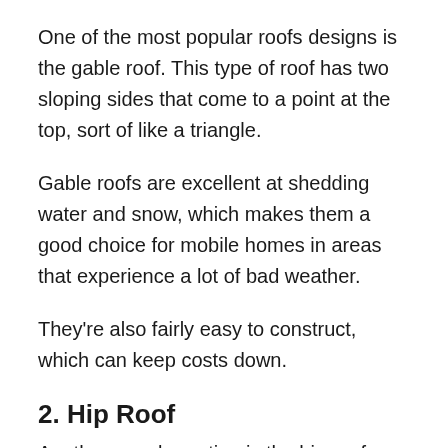One of the most popular roofs designs is the gable roof. This type of roof has two sloping sides that come to a point at the top, sort of like a triangle.
Gable roofs are excellent at shedding water and snow, which makes them a good choice for mobile homes in areas that experience a lot of bad weather.
They're also fairly easy to construct, which can keep costs down.
2. Hip Roof
Another popular option is the hip roof, which has four sloping sides that all come to a point at the top.